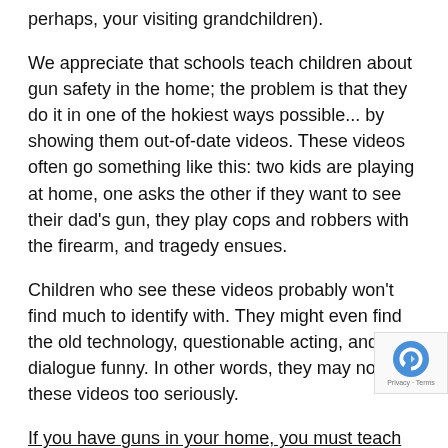perhaps, your visiting grandchildren).
We appreciate that schools teach children about gun safety in the home; the problem is that they do it in one of the hokiest ways possible... by showing them out-of-date videos. These videos often go something like this: two kids are playing at home, one asks the other if they want to see their dad's gun, they play cops and robbers with the firearm, and tragedy ensues.
Children who see these videos probably won't find much to identify with. They might even find the old technology, questionable acting, and bad dialogue funny. In other words, they may not take these videos too seriously.
If you have guns in your home, you must teach your children necessary gun safety measures. Show th your firearms (unloaded, of course) to satisfy the curiosity. Depending on their age, you could even let